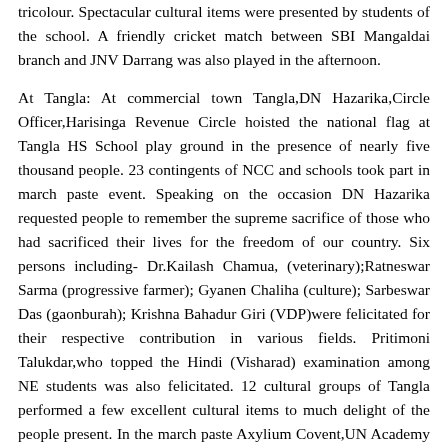tricolour. Spectacular cultural items were presented by students of the school. A friendly cricket match between SBI Mangaldai branch and JNV Darrang was also played in the afternoon.
At Tangla: At commercial town Tangla,DN Hazarika,Circle Officer,Harisinga Revenue Circle hoisted the national flag at Tangla HS School play ground in the presence of nearly five thousand people. 23 contingents of NCC and schools took part in march paste event. Speaking on the occasion DN Hazarika requested people to remember the supreme sacrifice of those who had sacrificed their lives for the freedom of our country. Six persons including- Dr.Kailash Chamua, (veterinary);Ratneswar Sarma (progressive farmer); Gyanen Chaliha (culture); Sarbeswar Das (gaonburah); Krishna Bahadur Giri (VDP)were felicitated for their respective contribution in various fields. Pritimoni Talukdar,who topped the Hindi (Visharad) examination among NE students was also felicitated. 12 cultural groups of Tangla performed a few excellent cultural items to much delight of the people present. In the march paste Axylium Covent,UN Academy and MVM,Tangla won first three places respectively. Santias Kunjur, EM,BTC among others attended the ceremony.